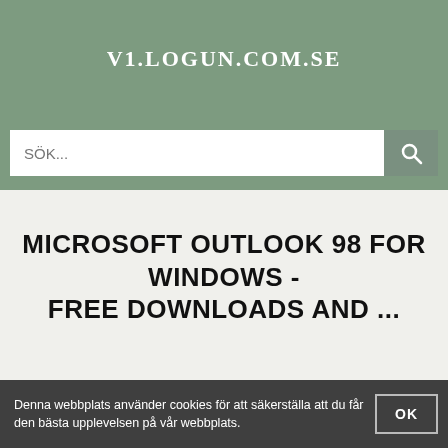V1.LOGUN.COM.SE
[Figure (screenshot): Search bar with magnifying glass icon on sage green background]
MICROSOFT OUTLOOK 98 FOR WINDOWS - FREE DOWNLOADS AND ...
Denna webbplats använder cookies för att säkerställa att du får den bästa upplevelsen på vår webbplats.
OK